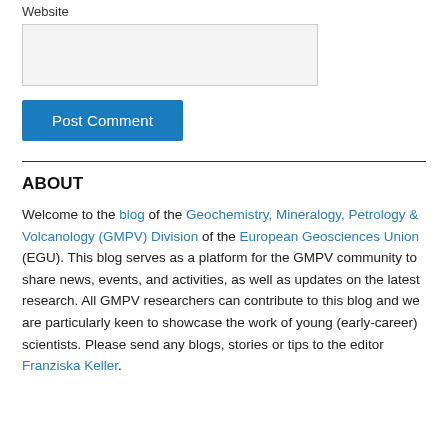Website
Post Comment
ABOUT
Welcome to the blog of the Geochemistry, Mineralogy, Petrology & Volcanology (GMPV) Division of the European Geosciences Union (EGU). This blog serves as a platform for the GMPV community to share news, events, and activities, as well as updates on the latest research. All GMPV researchers can contribute to this blog and we are particularly keen to showcase the work of young (early-career) scientists. Please send any blogs, stories or tips to the editor Franziska Keller.